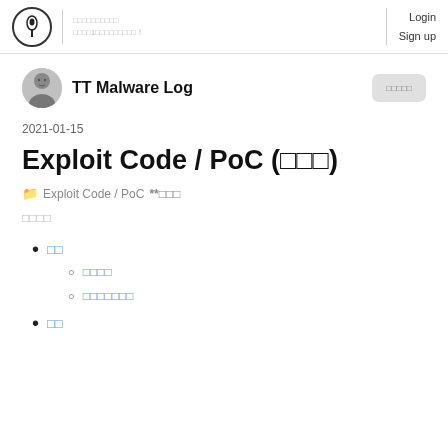TT Malware Log blog header with Login / Sign up
TT Malware Log
2021-01-15
Exploit Code / PoC (□□□)
📁 Exploit Code / PoC  **□□□
□□□□
□□
□□□□
□□□□□□□
□□